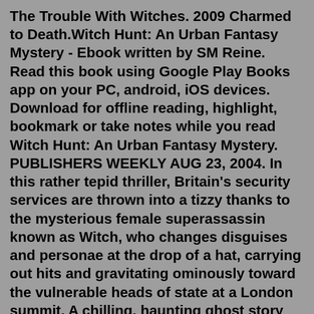The Trouble With Witches. 2009 Charmed to Death.Witch Hunt: An Urban Fantasy Mystery - Ebook written by SM Reine. Read this book using Google Play Books app on your PC, android, iOS devices. Download for offline reading, highlight, bookmark or take notes while you read Witch Hunt: An Urban Fantasy Mystery. PUBLISHERS WEEKLY AUG 23, 2004. In this rather tepid thriller, Britain's security services are thrown into a tizzy thanks to the mysterious female superassassin known as Witch, who changes disguises and personae at the drop of a hat, carrying out hits and gravitating ominously toward the vulnerable heads of state at a London summit. A chilling, haunting ghost story that delves into the dark past of the 16th century Essex witch trials. Sadie Asquith has been fascinated by the dark past of Essex's witch hunts for as long as she can remember. And for good reason: between 1560 and 1680, over 500 women were tried for witchcraft in the county of Essex. The Witch Hunt book series by Lisa Childs includes books Haunted, Persecuted, and...